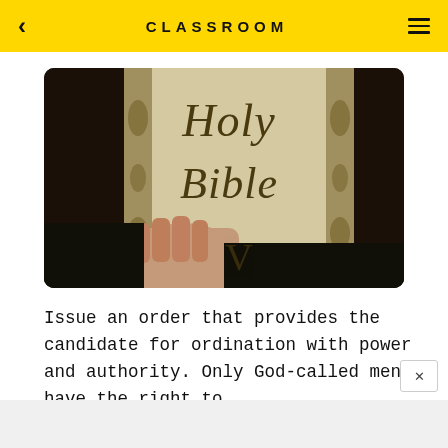CLASSROOM
[Figure (photo): Close-up photograph of a hand holding a Holy Bible with ornate decorative lettering on the cover]
Issue an order that provides the candidate for ordination with power and authority. Only God-called men have the right to